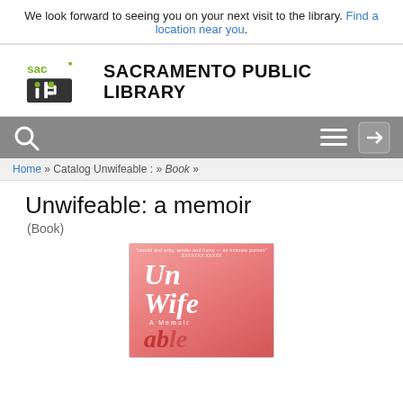We look forward to seeing you on your next visit to the library. Find a location near you.
[Figure (logo): Sacramento Public Library logo with 'sac' in green and stylized 'lib' icon]
[Figure (screenshot): Grey navigation search bar with search icon, hamburger menu, and login arrow icon]
Home » Catalog Unwifeable : » Book »
Unwifeable: a memoir
(Book)
[Figure (photo): Book cover of 'Unwifeable: A Memoir' — pink/red cover with large stylized italic text reading 'Un Wife able']